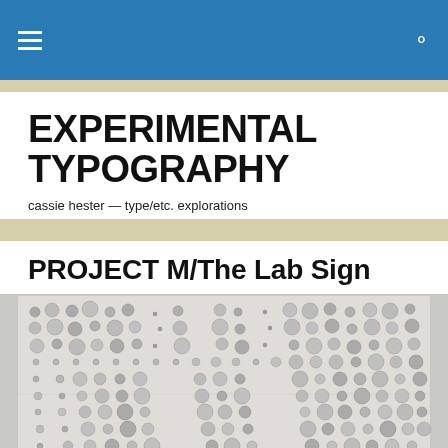☰ 🔍
EXPERIMENTAL TYPOGRAPHY
cassie hester — type/etc. explorations
PROJECT M/The Lab Sign
[Figure (photo): A grid panel with many screws arranged to form letters or patterns, photographed against a light background. The screws vary in size creating a textured typographic composition.]